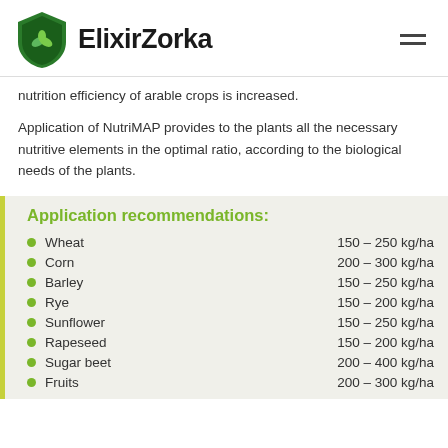ElixirZorka
nutrition efficiency of arable crops is increased.
Application of NutriMAP provides to the plants all the necessary nutritive elements in the optimal ratio, according to the biological needs of the plants.
Application recommendations:
Wheat  150 – 250 kg/ha
Corn  200 – 300 kg/ha
Barley  150 – 250 kg/ha
Rye  150 – 200 kg/ha
Sunflower  150 – 250 kg/ha
Rapeseed  150 – 200 kg/ha
Sugar beet  200 – 400 kg/ha
Fruits  200 – 300 kg/ha